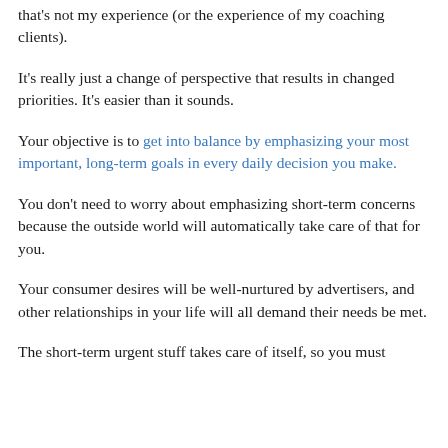that's not my experience (or the experience of my coaching clients).
It's really just a change of perspective that results in changed priorities. It's easier than it sounds.
Your objective is to get into balance by emphasizing your most important, long-term goals in every daily decision you make.
You don't need to worry about emphasizing short-term concerns because the outside world will automatically take care of that for you.
Your consumer desires will be well-nurtured by advertisers, and other relationships in your life will all demand their needs be met.
The short-term urgent stuff takes care of itself, so you must